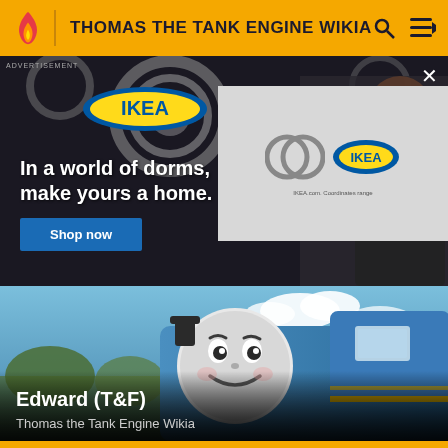THOMAS THE TANK ENGINE WIKIA
[Figure (screenshot): IKEA advertisement banner: shows IKEA logo with circular rings, a woman applying lipstick in a mirror with studio lights, text 'In a world of dorms, make yours a home.' and a blue 'Shop now' button. A secondary gray panel shows IKEA logo and small text. A close (X) button appears top-right.]
[Figure (photo): Thomas the Tank Engine (Edward, T&F) - a blue CGI steam locomotive with a smiling face, set against an outdoor autumn background with blue sky and clouds.]
Edward (T&F)
Thomas the Tank Engine Wikia